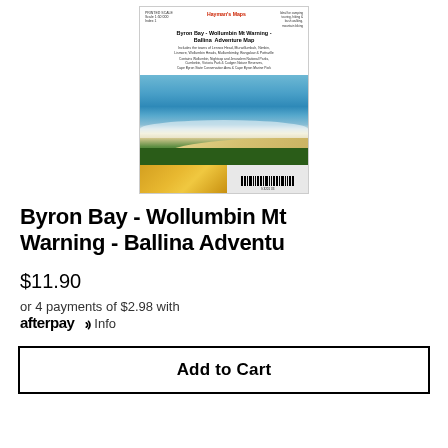[Figure (photo): Product image of the Byron Bay - Wollumbin Mt Warning - Ballina Adventure Map cover by Hayman's Maps, showing an aerial photo of a beach with blue ocean water, white waves, sandy beach, and green forest, with a map inset at the bottom and a barcode.]
Byron Bay - Wollumbin Mt Warning - Ballina Adventu
$11.90
or 4 payments of $2.98 with afterpay Info
Add to Cart